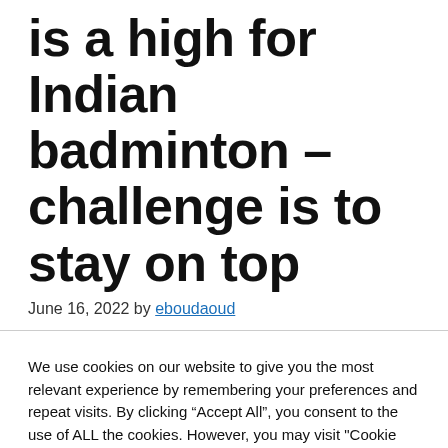is a high for Indian badminton – challenge is to stay on top
June 16, 2022 by eboudaoud
We use cookies on our website to give you the most relevant experience by remembering your preferences and repeat visits. By clicking “Accept All”, you consent to the use of ALL the cookies. However, you may visit "Cookie Settings" to provide a controlled consent.